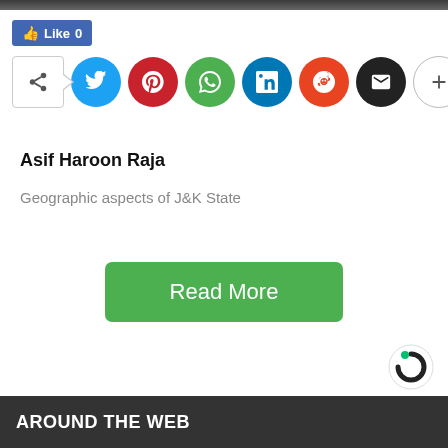[Figure (screenshot): Social media toolbar with Like button and share buttons for Twitter, Pinterest, WhatsApp, LinkedIn, Reddit, Email, and more]
Asif Haroon Raja
Geographic aspects of J&K State
Read More
AROUND THE WEB